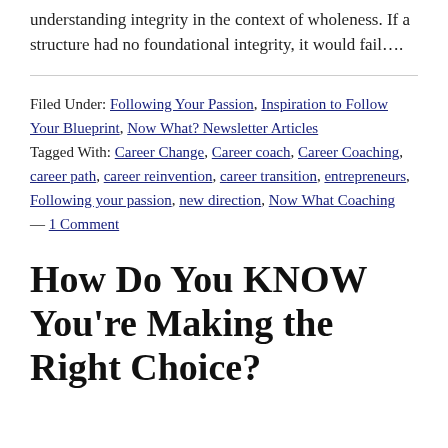understanding integrity in the context of wholeness. If a structure had no foundational integrity, it would fail….
Filed Under: Following Your Passion, Inspiration to Follow Your Blueprint, Now What? Newsletter Articles Tagged With: Career Change, Career coach, Career Coaching, career path, career reinvention, career transition, entrepreneurs, Following your passion, new direction, Now What Coaching — 1 Comment
How Do You KNOW You're Making the Right Choice?